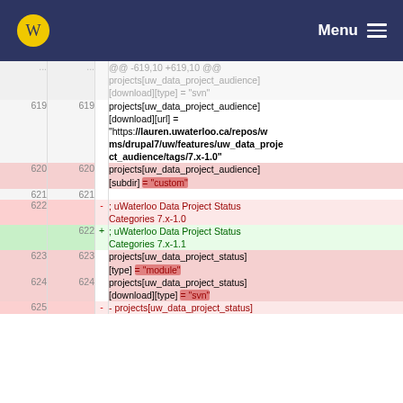University of Waterloo — Menu
[Figure (screenshot): A code diff view showing changes to a Drupal project configuration file, with line numbers, removed lines (red), added lines (green), and context lines for uw_data_project_audience and uw_data_project_status entries.]